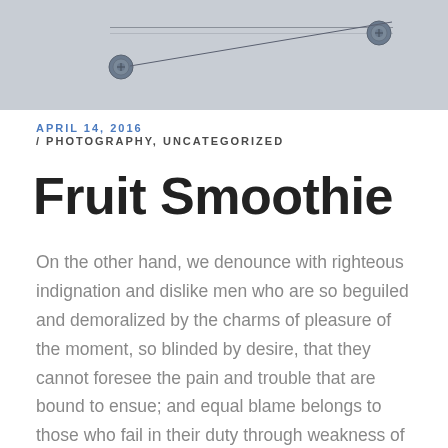[Figure (photo): Gray textured surface (possibly a metal or wooden panel) with two circular screw/bolt fixtures and a horizontal line running between them, cropped at top of page.]
APRIL 14, 2016 / PHOTOGRAPHY, UNCATEGORIZED
Fruit Smoothie
On the other hand, we denounce with righteous indignation and dislike men who are so beguiled and demoralized by the charms of pleasure of the moment, so blinded by desire, that they cannot foresee the pain and trouble that are bound to ensue; and equal blame belongs to those who fail in their duty through weakness of will, which is the same as saying through shrinking from toil and pain. These cases are perfectly simple and easy to